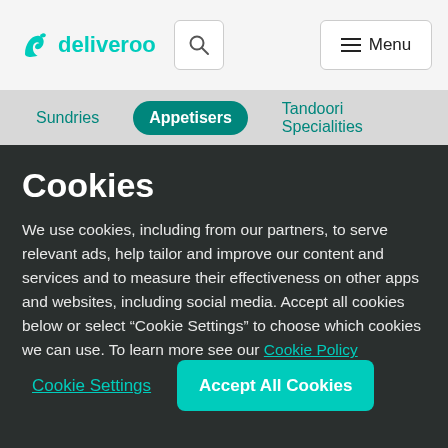[Figure (logo): Deliveroo logo with kangaroo icon and text 'deliveroo' in teal]
Sundries   Appetisers   Tandoori Specialities
Cookies
We use cookies, including from our partners, to serve relevant ads, help tailor and improve our content and services and to measure their effectiveness on other apps and websites, including social media. Accept all cookies below or select “Cookie Settings” to choose which cookies we can use. To learn more see our Cookie Policy
Cookie Settings
Accept All Cookies